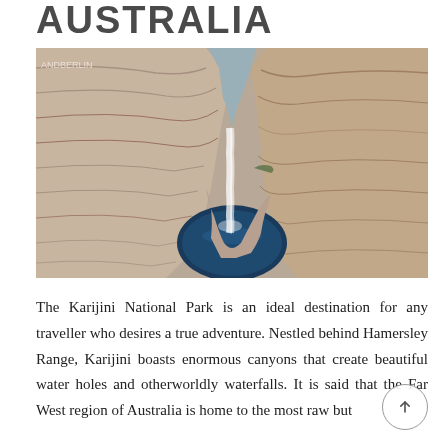AUSTRALIA
[Figure (photo): A gorge in Karijini National Park showing layered sandstone rock walls curving around a deep blue water pool with a small waterfall cascading down in the background.]
The Karijini National Park is an ideal destination for any traveller who desires a true adventure. Nestled behind Hamersley Range, Karijini boasts enormous canyons that create beautiful water holes and otherworldly waterfalls. It is said that the Far West region of Australia is home to the most raw but